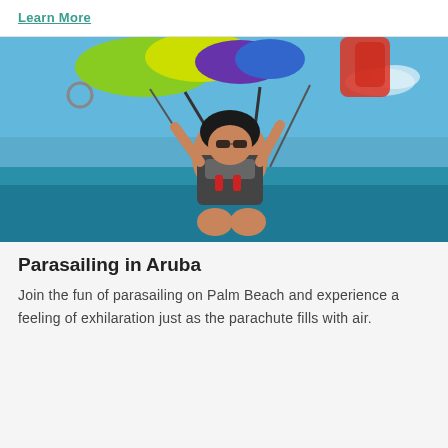Learn More
[Figure (photo): Woman parasailing over the ocean, wearing a life jacket and holding harness straps, colorful parachute above her against a blue sky]
Parasailing in Aruba
Join the fun of parasailing on Palm Beach and experience a feeling of exhilaration just as the parachute fills with air.